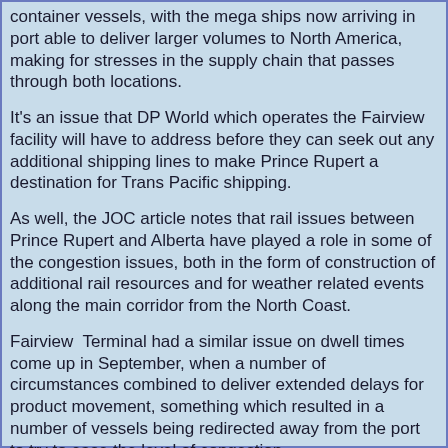container vessels, with the mega ships now arriving in port able to deliver larger volumes to North America, making for stresses in the supply chain that passes through both locations.
It's an issue that DP World which operates the Fairview facility will have to address before they can seek out any additional shipping lines to make Prince Rupert a destination for Trans Pacific shipping.
As well, the JOC article notes that rail issues between Prince Rupert and Alberta have played a role in some of the congestion issues, both in the form of construction of additional rail resources and for weather related events along the main corridor from the North Coast.
Fairview  Terminal had a similar issue on dwell times come up in September, when a number of circumstances combined to deliver extended delays for product movement, something which resulted in a number of vessels being redirected away from the port to try to ease the level of congestion.